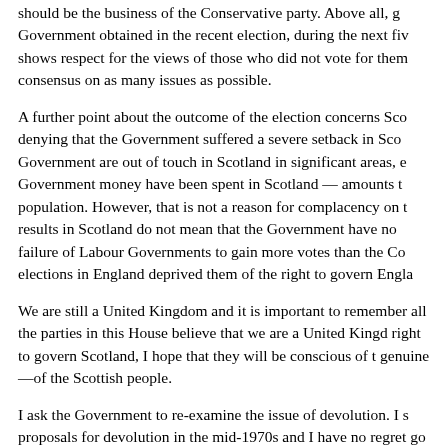should be the business of the Conservative party. Above all, Government obtained in the recent election, during the next five shows respect for the views of those who did not vote for them consensus on as many issues as possible.
A further point about the outcome of the election concerns Sco denying that the Government suffered a severe setback in Sco Government are out of touch in Scotland in significant areas, e Government money have been spent in Scotland — amounts t population. However, that is not a reason for complacency on t results in Scotland do not mean that the Government have no failure of Labour Governments to gain more votes than the Co elections in England deprived them of the right to govern Engla
We are still a United Kingdom and it is important to remember all the parties in this House believe that we are a United Kingd right to govern Scotland, I hope that they will be conscious of t genuine—of the Scottish people.
I ask the Government to re-examine the issue of devolution. I s proposals for devolution in the mid-1970s and I have no regret go away then, it will come back. I think it was the former Lord